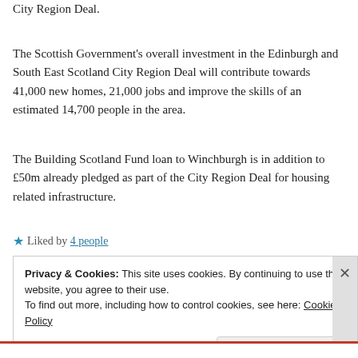City Region Deal.
The Scottish Government's overall investment in the Edinburgh and South East Scotland City Region Deal will contribute towards 41,000 new homes, 21,000 jobs and improve the skills of an estimated 14,700 people in the area.
The Building Scotland Fund loan to Winchburgh is in addition to £50m already pledged as part of the City Region Deal for housing related infrastructure.
★ Liked by 4 people
Privacy & Cookies: This site uses cookies. By continuing to use this website, you agree to their use.
To find out more, including how to control cookies, see here: Cookie Policy
Close and accept